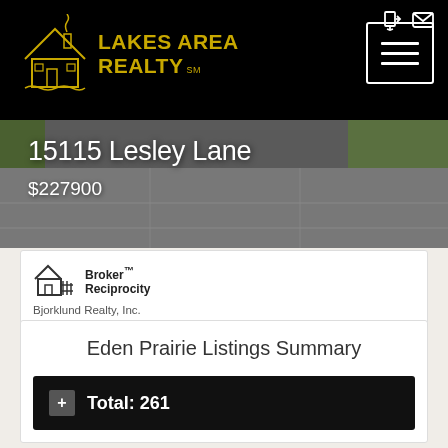[Figure (logo): Lakes Area Realty logo in gold/yellow on black background with house icon]
[Figure (photo): Driveway/road photo with grass on sides, dark pavement]
15115 Lesley Lane
$227900
[Figure (logo): Broker Reciprocity house logo]
Broker™ Reciprocity
Bjorklund Realty, Inc.
Eden Prairie Listings Summary
Total: 261